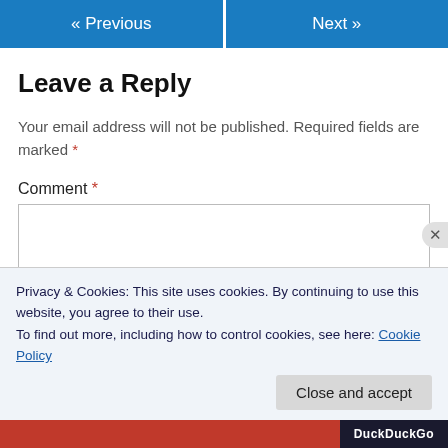« Previous    Next »
Leave a Reply
Your email address will not be published. Required fields are marked *
Comment *
Privacy & Cookies: This site uses cookies. By continuing to use this website, you agree to their use.
To find out more, including how to control cookies, see here: Cookie Policy
Close and accept